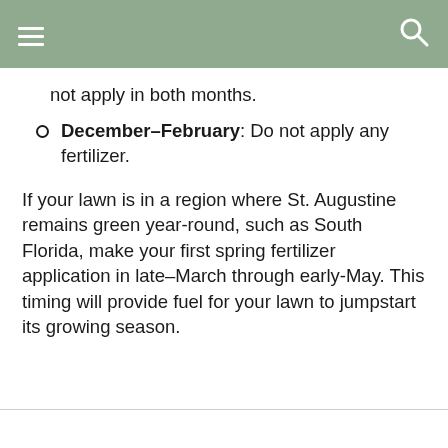not apply in both months.
December–February: Do not apply any fertilizer.
If your lawn is in a region where St. Augustine remains green year-round, such as South Florida, make your first spring fertilizer application in late–March through early-May. This timing will provide fuel for your lawn to jumpstart its growing season.